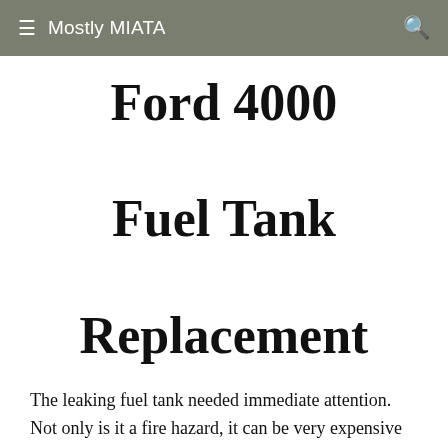Mostly MIATA
Ford 4000 Fuel Tank Replacement
The leaking fuel tank needed immediate attention.  Not only is it a fire hazard, it can be very expensive due to the high cost of diesel fuel.  So, I ordered a new tank.
Since the tank cover had to come off to